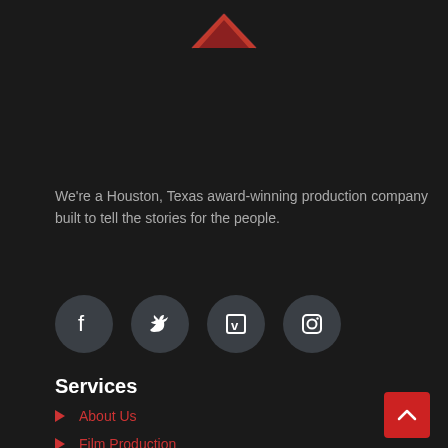[Figure (logo): Red stylized mountain/chevron logo at top center]
We're a Houston, Texas award-winning production company built to tell the stories for the people.
[Figure (infographic): Four social media icon circles: Facebook, Twitter, Vimeo, Instagram on dark background]
Services
About Us
Film Production
Actor Services